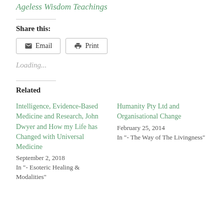Ageless Wisdom Teachings
Share this:
Email  Print
Loading...
Related
Intelligence, Evidence-Based Medicine and Research, John Dwyer and How my Life has Changed with Universal Medicine
September 2, 2018
In "- Esoteric Healing & Modalities"
Humanity Pty Ltd and Organisational Change
February 25, 2014
In "- The Way of The Livingness"